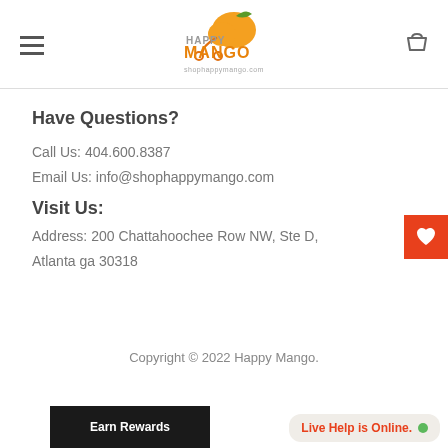Happy Mango — shophappymango.com
Have Questions?
Call Us: 404.600.8387
Email Us: info@shophappymango.com
Visit Us:
Address: 200 Chattahoochee Row NW, Ste D, Atlanta ga 30318
Copyright © 2022 Happy Mango.
Earn Rewards
Live Help is Online.